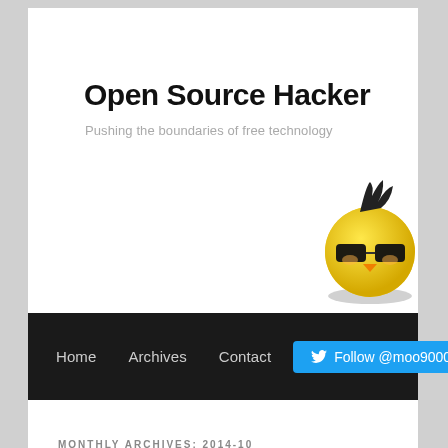Open Source Hacker
Pushing the boundaries of free technology
[Figure (illustration): Yellow Angry Birds plush toy wearing black sunglasses, photographed against a white background]
Home   Archives   Contact
Follow @moo9000
MONTHLY ARCHIVES: 2014-10